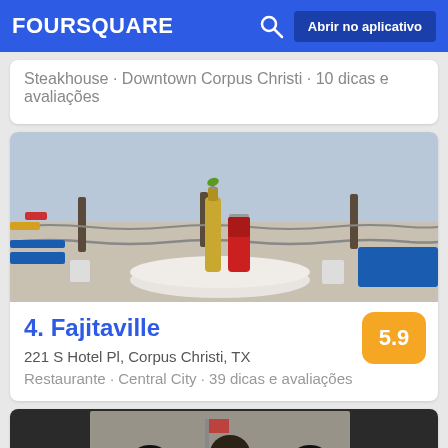FOURSQUARE   Abrir no aplicativo
Steakhouse · Downtown Corpus Christi · 10 dicas e avaliações
[Figure (photo): Outdoor beach/boardwalk seating area with Corona beer bottle and a red can on a white table, blue picnic benches visible in background, waterfront setting in Corpus Christi]
4. Fajitaville
221 S Hotel Pl, Corpus Christi, TX
Restaurante · Central City · 39 dicas e avaliações
[Figure (photo): Partial photo of indoor venue, people visible in background]